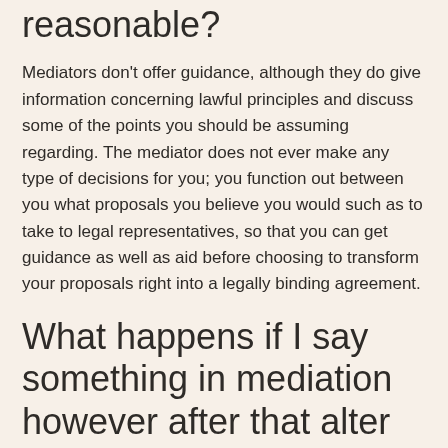reasonable?
Mediators don't offer guidance, although they do give information concerning lawful principles and discuss some of the points you should be assuming regarding. The mediator does not ever make any type of decisions for you; you function out between you what proposals you believe you would such as to take to legal representatives, so that you can get guidance as well as aid before choosing to transform your proposals right into a legally binding agreement.
What happens if I say something in mediation however after that alter my mind?
Nothing you do or claim during a mediation will